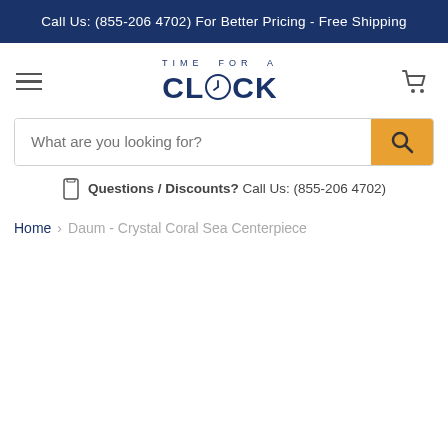Call Us: (855-206 4702) For Better Pricing - Free Shipping
[Figure (logo): Time For A Clock logo with hamburger menu and shopping cart icon]
What are you looking for? [search bar with orange search button]
Questions / Discounts? Call Us: (855-206 4702)
Home > Daum - Crystal Coral Sea Centerpiece